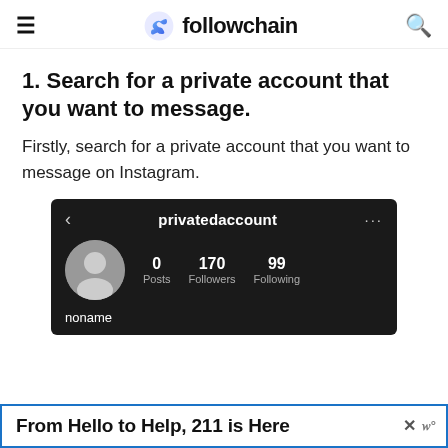followchain
1. Search for a private account that you want to message.
Firstly, search for a private account that you want to message on Instagram.
[Figure (screenshot): Instagram dark-mode profile screen for 'privatedaccount' showing 0 Posts, 170 Followers, 99 Following, username 'noname']
From Hello to Help, 211 is Here